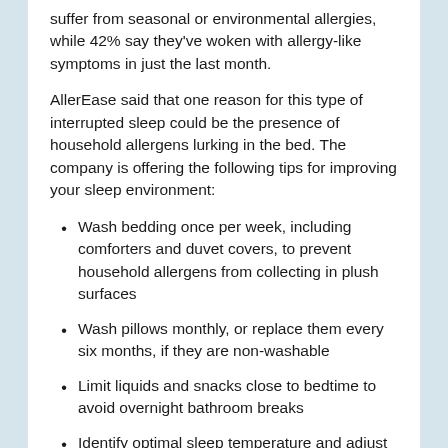suffer from seasonal or environmental allergies, while 42% say they've woken with allergy-like symptoms in just the last month.
AllerEase said that one reason for this type of interrupted sleep could be the presence of household allergens lurking in the bed. The company is offering the following tips for improving your sleep environment:
Wash bedding once per week, including comforters and duvet covers, to prevent household allergens from collecting in plush surfaces
Wash pillows monthly, or replace them every six months, if they are non-washable
Limit liquids and snacks close to bedtime to avoid overnight bathroom breaks
Identify optimal sleep temperature and adjust fan, heat or air-conditioning accordingly
Of course, other causes of troubled sleep